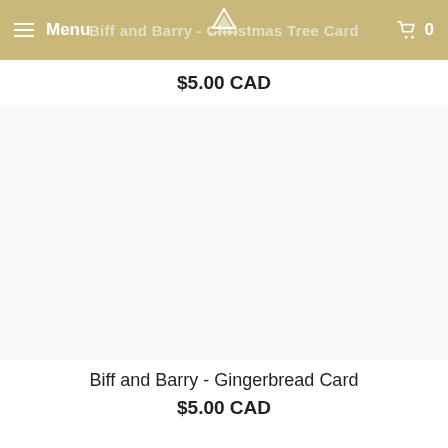Menu  Biff and Barry - Christmas Tree Card  0
$5.00 CAD
[Figure (photo): White/blank product image area for a greeting card product]
Biff and Barry - Gingerbread Card
$5.00 CAD